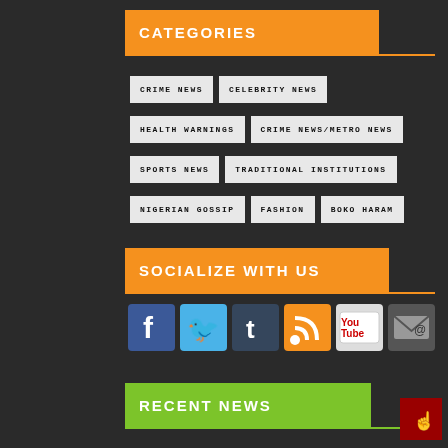CATEGORIES
CRIME NEWS
CELEBRITY NEWS
HEALTH WARNINGS
CRIME NEWS/METRO NEWS
SPORTS NEWS
TRADITIONAL INSTITUTIONS
NIGERIAN GOSSIP
FASHION
BOKO HARAM
SOCIALIZE WITH US
[Figure (infographic): Social media icons: Facebook, Twitter, Tumblr, RSS, YouTube, Email]
RECENT NEWS